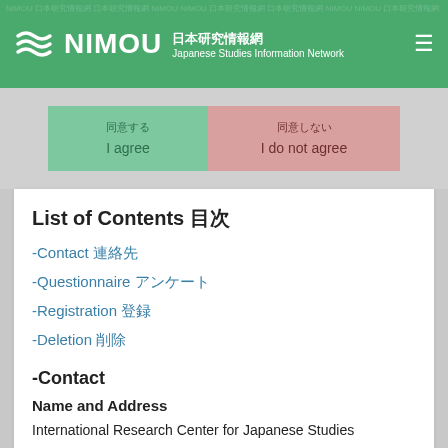NIMOU 日本研究情報網 Japanese Studies Information Network
[Figure (screenshot): Two consent buttons: '同意する / I agree' (green) and '同意しない / I do not agree' (pink/rose)]
List of Contents 目次
-Contact 連絡先
-Questionnaire アンケート
-Registration 登録
-Deletion 削除
-Contact
Name and Address
International Research Center for Japanese Studies
3-2 Goryo Oeyama-cho, Nishikyo-ku, Kyoto